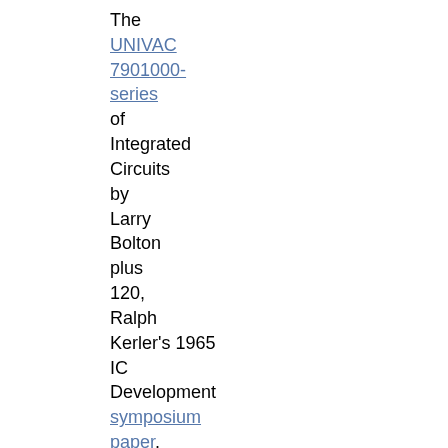The UNIVAC 7901000-series of Integrated Circuits by Larry Bolton plus 120, Ralph Kerler's 1965 IC Development symposium paper.
119, October: A History of UNIVAC Magnetic Tape Plating Facility by Douglas